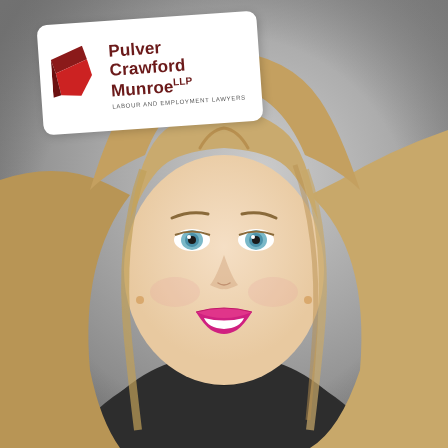[Figure (photo): Professional headshot of a woman with short blonde hair, blue eyes, and pink lipstick, smiling, wearing a dark blazer. Background is a neutral grey gradient. A white logo card for Pulver Crawford Munroe LLP Labour and Employment Lawyers is overlaid in the upper left area.]
[Figure (logo): Pulver Crawford Munroe LLP logo card: red geometric arrow/chevron icon on left, firm name in dark red bold text, tagline 'LABOUR AND EMPLOYMENT LAWYERS' in small caps below.]